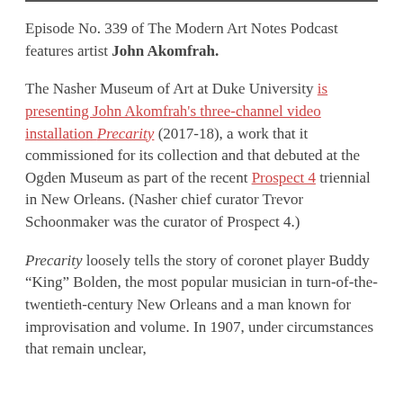Episode No. 339 of The Modern Art Notes Podcast features artist John Akomfrah.
The Nasher Museum of Art at Duke University is presenting John Akomfrah's three-channel video installation Precarity (2017-18), a work that it commissioned for its collection and that debuted at the Ogden Museum as part of the recent Prospect 4 triennial in New Orleans. (Nasher chief curator Trevor Schoonmaker was the curator of Prospect 4.)
Precarity loosely tells the story of coronet player Buddy “King” Bolden, the most popular musician in turn-of-the-twentieth-century New Orleans and a man known for improvisation and volume. In 1907, under circumstances that remain unclear,